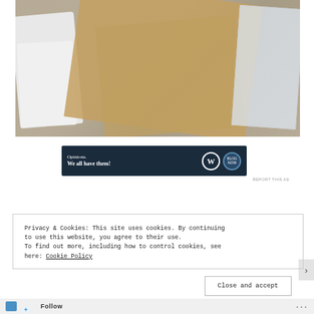[Figure (photo): Photo of packaging materials on a carpet: white foam pieces on the left, crumpled brown paper bags in the center, and a clear plastic bag on the right]
[Figure (infographic): Ad banner on dark navy background reading 'Opinions. We all have them!' with WordPress (W) logo and another circular logo]
REPORT THIS AD
Privacy & Cookies: This site uses cookies. By continuing to use this website, you agree to their use.
To find out more, including how to control cookies, see here: Cookie Policy
Close and accept
Follow